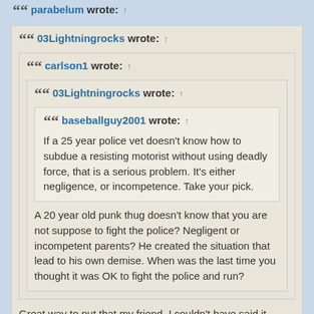parabelum wrote: ↑
03Lightningrocks wrote: ↑
carlson1 wrote: ↑
03Lightningrocks wrote: ↑
baseballguy2001 wrote: ↑
If a 25 year police vet doesn't know how to subdue a resisting motorist without using deadly force, that is a serious problem. It's either negligence, or incompetence. Take your pick.
A 20 year old punk thug doesn't know that you are not suppose to fight the police? Negligent or incompetent parents? He created the situation that lead to his own demise. When was the last time you thought it was OK to fight the police and run?
Great way to put that my friend. I couldn't have said it better. Isn't it main hall of these “deaths” have a common thread. Resisting! Fight it in court. Don't start out with civil unrest.